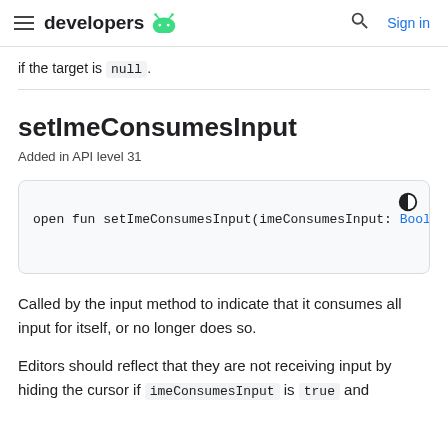developers [android icon] | Sign in
if the target is null.
setImeConsumesInput
Added in API level 31
open fun setImeConsumesInput(imeConsumesInput: Boole
Called by the input method to indicate that it consumes all input for itself, or no longer does so.
Editors should reflect that they are not receiving input by hiding the cursor if imeConsumesInput is true and